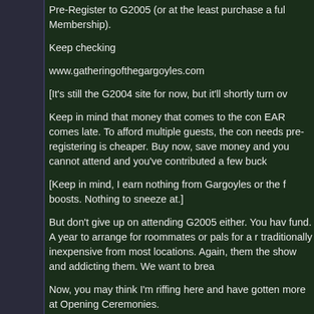Pre-Register to G2005 (or at the least purchase a full Membership).
Keep checking
www.gatheringofthegargoyles.com
[It's still the G2004 site for now, but it'll shortly turn ov
Keep in mind that money that comes to the con EAR comes late. To afford multiple guests, the con needs pre-registering is cheaper. Buy now, save money and you cannot attend and you've contributed a few buck
[Keep in mind, I earn nothing from Gargoyles or the f boosts. Nothing to sneeze at.]
But don't give up on attending G2005 either. You hav fund. A year to arrange for roommates or pals for a r traditionally inexpensive from most locations. Again, them the show and addicting them. We want to brea
Now, you may think I'm riffing here and have gotten more at Opening Ceremonies.